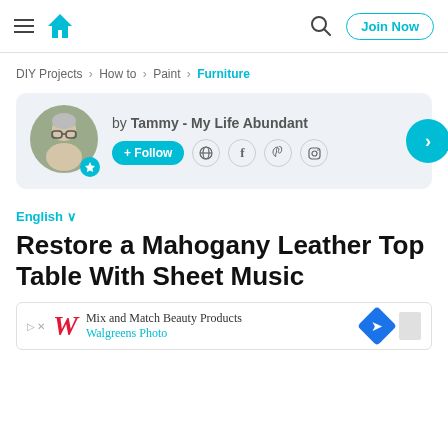Navigation bar with hamburger menu, house logo, search icon, and Join Now button
DIY Projects > How to > Paint > Furniture
by Tammy - My Life Abundant
English
Restore a Mahogany Leather Top Table With Sheet Music
[Figure (other): Advertisement banner: Walgreens Photo - Mix and Match Beauty Products]